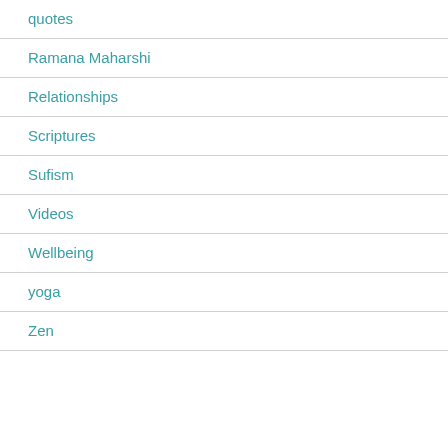quotes
Ramana Maharshi
Relationships
Scriptures
Sufism
Videos
Wellbeing
yoga
Zen